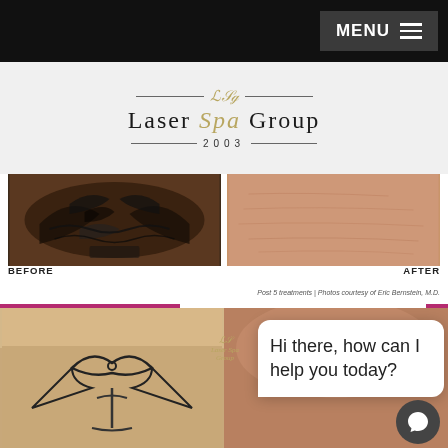MENU
[Figure (logo): Laser Spa Group 2003 logo with decorative lines and monogram]
[Figure (photo): Before and after photos of tattoo removal. Left: dark tattoo on skin. Right: cleared skin after treatment. Labels: BEFORE, AFTER. Caption: Post 5 treatments | Photos courtesy of Eric Bernstein, M.D.]
[Figure (photo): Second before and after tattoo removal photos, partially obscured by chat widget overlay]
Hi there, how can I help you today?